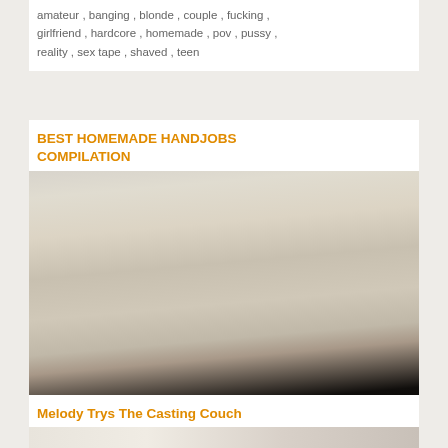[Figure (photo): Thumbnail image of a couple on a couch, partial view at top of page]
amateur , banging , blonde , couple , fucking , girlfriend , hardcore , homemade , pov , pussy , reality , sex tape , shaved , teen
BEST HOMEMADE HANDJOBS COMPILATION
[Figure (photo): Close-up video thumbnail, blurry intimate scene]
amateur , amateurs , best , compilation , handjob , handjob compilation , handjobs , homemade , teen , teens
Melody Trys The Casting Couch
[Figure (photo): Partial thumbnail at bottom of page with site watermark]